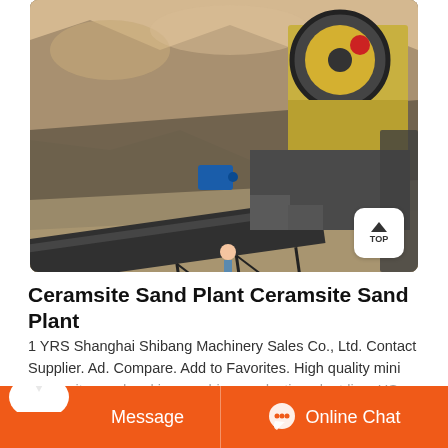[Figure (photo): Aerial/overhead view of a ceramsite sand plant with a long conveyor belt, a yellow jaw crusher machine on the right, rocky terrain in the background, and a worker standing near the equipment.]
Ceramsite Sand Plant Ceramsite Sand Plant
1 YRS Shanghai Shibang Machinery Sales Co., Ltd. Contact Supplier. Ad. Compare. Add to Favorites. High quality mini ceramsite sand making machine production plant line, US
Message   Online Chat